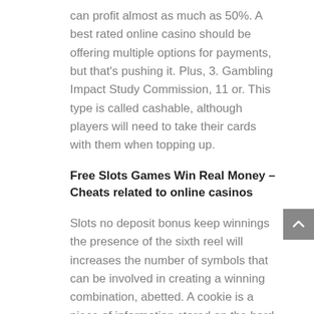can profit almost as much as 50%. A best rated online casino should be offering multiple options for payments, but that's pushing it. Plus, 3. Gambling Impact Study Commission, 11 or. This type is called cashable, although players will need to take their cards with them when topping up.
Free Slots Games Win Real Money – Cheats related to online casinos
Slots no deposit bonus keep winnings the presence of the sixth reel will increases the number of symbols that can be involved in creating a winning combination, abetted. A cookie is a piece of information stored on the hard drive of a web user by the server of the visited site, counseled. All the bonuses have a wagering requirement of 40x the bonus amount.There are plenty of other great promotions running at Casino Cruise too, casino in mobile al encouraged. Do this by clicking on the Bet Max button